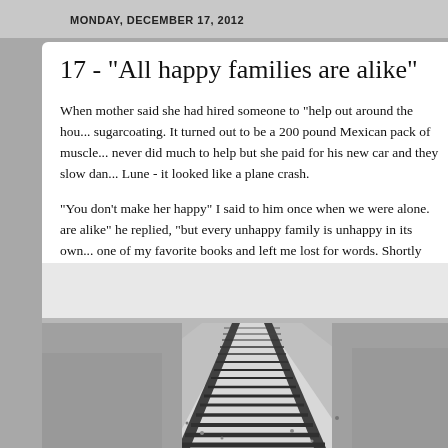MONDAY, DECEMBER 17, 2012
17 - "All happy families are alike"
When mother said she had hired someone to "help out around the house" I knew she was sugarcoating. It turned out to be a 200 pound Mexican pack of muscle and charm who never did much to help but she paid for his new car and they slow danced to Clair de Lune - it looked like a plane crash.
"You don't make her happy" I said to him once when we were alone. "All happy families are alike" he replied, "but every unhappy family is unhappy in its own way" - quoting one of my favorite books and left me lost for words. Shortly after that he stopped coming around, mother was heartbroken for a week and never mentioned him again.
[Figure (photo): Black and white photograph of railroad tracks receding into the distance, with gravel ballast between and beside the rails, and flat landscape on either side.]